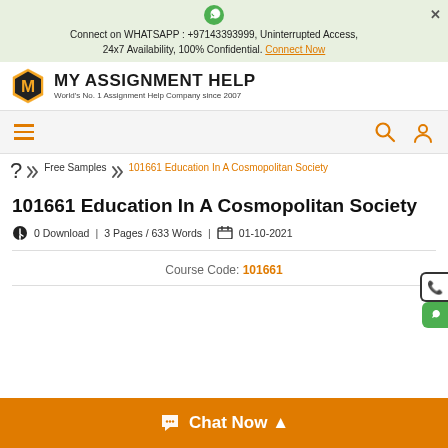Connect on WHATSAPP : +97143393999, Uninterrupted Access, 24x7 Availability, 100% Confidential. Connect Now
[Figure (logo): My Assignment Help logo with hexagon M icon and tagline World's No. 1 Assignment Help Company since 2007]
[Figure (screenshot): Navigation bar with hamburger menu, search icon, and user profile icon]
Free Samples >> 101661 Education In A Cosmopolitan Society
101661 Education In A Cosmopolitan Society
0 Download | 3 Pages / 633 Words | 01-10-2021
Course Code: 101661
Chat Now